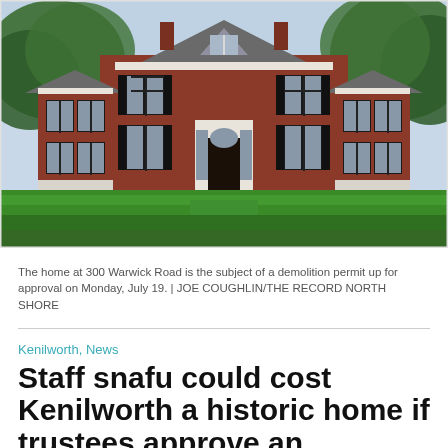[Figure (photo): A large two-story red brick Colonial-style home with black shutters, white trim, and symmetrical wings on each side, set on a green lawn with trees in the background.]
The home at 300 Warwick Road is the subject of a demolition permit up for approval on Monday, July 19. | JOE COUGHLIN/THE RECORD NORTH SHORE
Kenilworth, News
Staff snafu could cost Kenilworth a historic home if trustees approve an agreement Monday, July 19